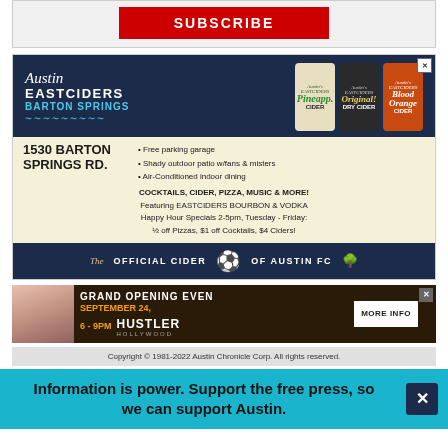[Figure (other): Red SUBSCRIBE button bar for Austin Chronicle]
[Figure (other): Austin Eastciders Barton Springs advertisement showing cans (Pineapple Cider, Original Dry Cider, Blood Orange Cider), address 1530 Barton Springs Rd., features, cocktails/cider/pizza info, and Official Cider of Austin FC footer]
[Figure (other): Hustler Hollywood Grand Opening Event advertisement - September 24, 6-9PM, with MORE INFO button]
Copyright © 1981-2022 Austin Chronicle Corp. All rights reserved.
Information is power. Support the free press, so we can support Austin.